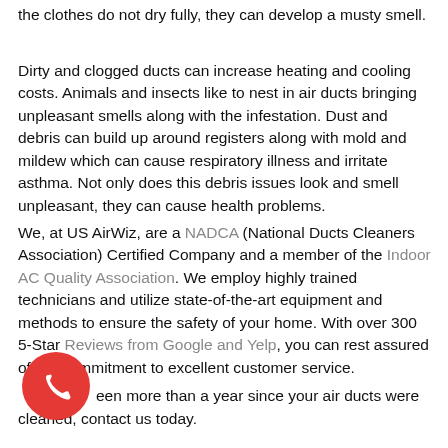the clothes do not dry fully, they can develop a musty smell.
Dirty and clogged ducts can increase heating and cooling costs. Animals and insects like to nest in air ducts bringing unpleasant smells along with the infestation. Dust and debris can build up around registers along with mold and mildew which can cause respiratory illness and irritate asthma. Not only does this debris issues look and smell unpleasant, they can cause health problems.
We, at US AirWiz, are a NADCA (National Ducts Cleaners Association) Certified Company and a member of the Indoor AC Quality Association. We employ highly trained technicians and utilize state-of-the-art equipment and methods to ensure the safety of your home. With over 300 5-Star Reviews from Google and Yelp, you can rest assured of our commitment to excellent customer service.
It's been more than a year since your air ducts were cleaned, contact us today.